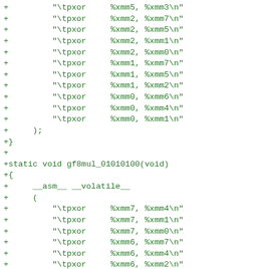+ 	"\tpxor	%xmm5, %xmm3\n"
+ 	"\tpxor	%xmm2, %xmm7\n"
+ 	"\tpxor	%xmm2, %xmm5\n"
+ 	"\tpxor	%xmm2, %xmm1\n"
+ 	"\tpxor	%xmm2, %xmm0\n"
+ 	"\tpxor	%xmm1, %xmm7\n"
+ 	"\tpxor	%xmm1, %xmm5\n"
+ 	"\tpxor	%xmm1, %xmm2\n"
+ 	"\tpxor	%xmm0, %xmm6\n"
+ 	"\tpxor	%xmm0, %xmm4\n"
+ 	"\tpxor	%xmm0, %xmm1\n"
+	);
+}
+
+static void gf8mul_01010100(void)
+{
+	__asm__ __volatile__
+	(
+ 	"\tpxor	%xmm7, %xmm4\n"
+ 	"\tpxor	%xmm7, %xmm1\n"
+ 	"\tpxor	%xmm7, %xmm0\n"
+ 	"\tpxor	%xmm6, %xmm7\n"
+ 	"\tpxor	%xmm6, %xmm4\n"
+ 	"\tpxor	%xmm6, %xmm2\n"
+ 	"\tpxor	%xmm5, %xmm6\n"
+ 	"\tpxor	%xmm5, %xmm3\n"
+ 	"\tpxor	%xmm5, %xmm1\n"
+ 	"\tpxor	%xmm4, %xmm5\n"
+ 	"\tpxor	%xmm4, %xmm2\n"
+ 	"\tpxor	%xmm4, %xmm0\n"